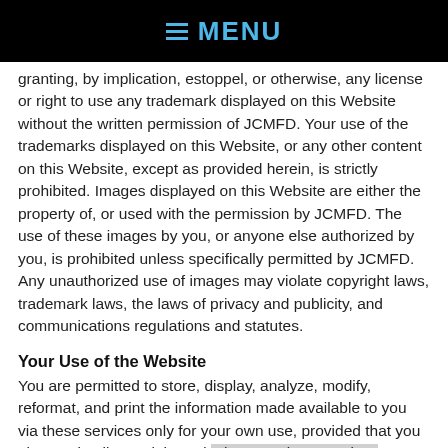MENU
granting, by implication, estoppel, or otherwise, any license or right to use any trademark displayed on this Website without the written permission of JCMFD. Your use of the trademarks displayed on this Website, or any other content on this Website, except as provided herein, is strictly prohibited. Images displayed on this Website are either the property of, or used with the permission by JCMFD. The use of these images by you, or anyone else authorized by you, is prohibited unless specifically permitted by JCMFD. Any unauthorized use of images may violate copyright laws, trademark laws, the laws of privacy and publicity, and communications regulations and statutes.
Your Use of the Website
You are permitted to store, display, analyze, modify, reformat, and print the information made available to you via these services only for your own use, provided that you also retain all copyright and other proprietary notices contained on the materials. You are not permitted to modify, reuse, repost, publish, transmit, or otherwise reproduce this information, in whole or in part, in any format to